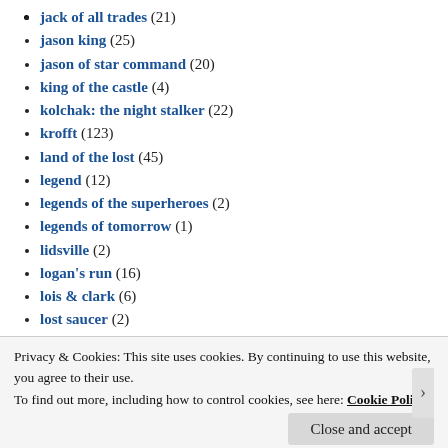jack of all trades (21)
jason king (25)
jason of star command (20)
king of the castle (4)
kolchak: the night stalker (22)
krofft (123)
land of the lost (45)
legend (12)
legends of the superheroes (2)
legends of tomorrow (1)
lidsville (2)
logan's run (16)
lois & clark (6)
lost saucer (2)
lupin iii (7)
macgyver (46)
magic mongo (1)
Privacy & Cookies: This site uses cookies. By continuing to use this website, you agree to their use.
To find out more, including how to control cookies, see here: Cookie Policy
Close and accept